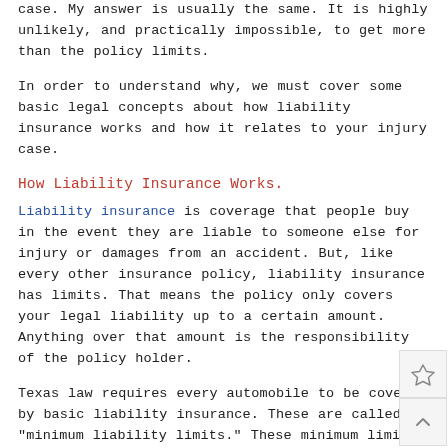case. My answer is usually the same. It is highly unlikely, and practically impossible, to get more than the policy limits.
In order to understand why, we must cover some basic legal concepts about how liability insurance works and how it relates to your injury case.
How Liability Insurance Works.
Liability insurance is coverage that people buy in the event they are liable to someone else for injury or damages from an accident.  But, like every other insurance policy, liability insurance has limits.  That means the policy only covers your legal liability up to a certain amount.  Anything over that amount is the responsibility of the policy holder.
Texas law requires every automobile to be covered by basic liability insurance.  These are called "minimum liability limits."  These minimum limits do change over time.  Since I started as a car accident attorney in Dallas, the minimum